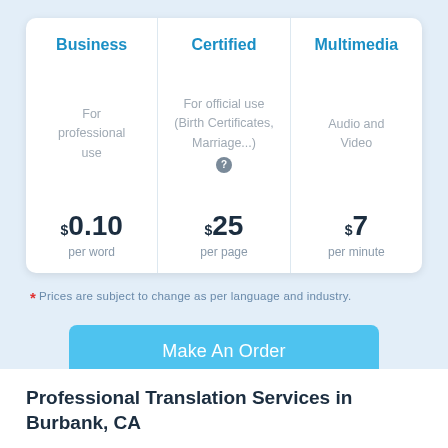| Business | Certified | Multimedia |
| --- | --- | --- |
| For professional use | For official use (Birth Certificates, Marriage...) | Audio and Video |
| $0.10 per word | $25 per page | $7 per minute |
* Prices are subject to change as per language and industry.
Make An Order
Professional Translation Services in Burbank, CA